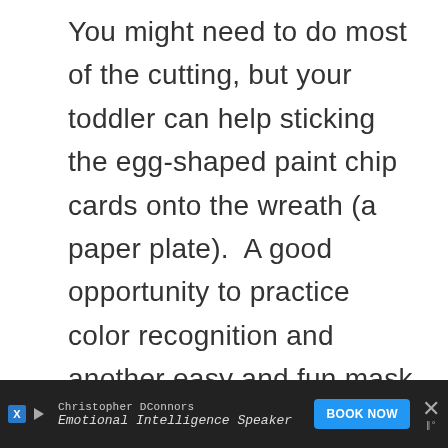You might need to do most of the cutting, but your toddler can help sticking the egg-shaped paint chip cards onto the wreath (a paper plate).  A good opportunity to practice color recognition and another easy and fun mask for your little one.
[Figure (photo): Two bunny ears made from paper/craft materials with pink inner lining, photographed on a wooden surface.]
Christopher DConnors | Emotional Intelligence Speaker | BOOK NOW [ad]